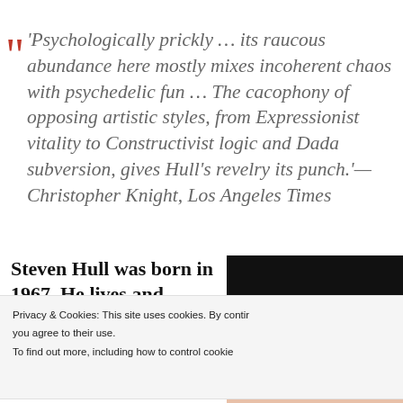'Psychologically prickly … its raucous abundance here mostly mixes incoherent chaos with psychedelic fun … The cacophony of opposing artistic styles, from Expressionist vitality to Constructivist logic and Dada subversion, gives Hull's revelry its punch.'— Christopher Knight, Los Angeles Times
Steven Hull was born in 1967. He lives and
[Figure (photo): Partially visible photograph, mostly dark/black, occupying the right side of the bio section]
Privacy & Cookies: This site uses cookies. By continuing to use this website, you agree to their use. To find out more, including how to control cookies, see here: Close and accept
Rosamond Falcon